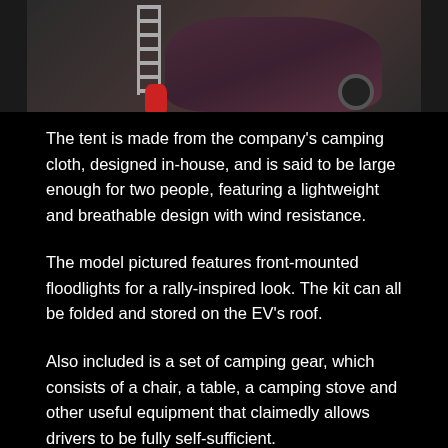[Figure (photo): Partial view of a dark maroon/burgundy SUV/EV from behind, with a ladder leaning against it and a red object on the ground nearby, on a dark background.]
The tent is made from the company's camping cloth, designed in-house, and is said to be large enough for two people, featuring a lightweight and breathable design with wind resistance.
The model pictured features front-mounted floodlights for a rally-inspired look. The kit can all be folded and stored on the EV's roof.
Also included is a set of camping gear, which consists of a chair, a table, a camping stove and other useful equipment that claimedly allows drivers to be fully self-sufficient.
The package is priced at £200,000 (AUD$370,000), but it's